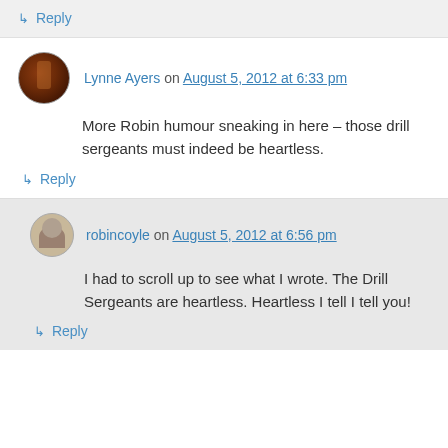↳ Reply
Lynne Ayers on August 5, 2012 at 6:33 pm
More Robin humour sneaking in here – those drill sergeants must indeed be heartless.
↳ Reply
robincoyle on August 5, 2012 at 6:56 pm
I had to scroll up to see what I wrote. The Drill Sergeants are heartless. Heartless I tell I tell you!
↳ Reply